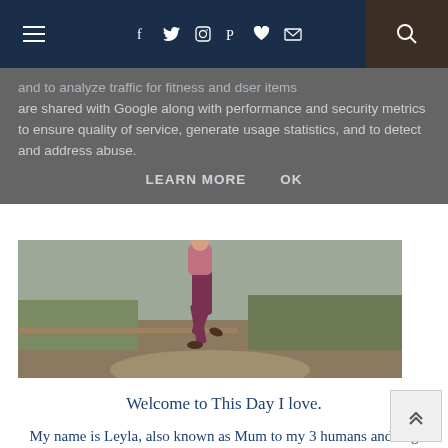Navigation bar with hamburger menu, social icons (Facebook, Twitter, Instagram, Pinterest, heart, mail), and search button
and to analyze traffic for fitness and other items are shared with Google along with performance and security metrics to ensure quality of service, generate usage statistics, and to detect and address abuse.
LEARN MORE   OK
[Figure (photo): A person running in purple/maroon athletic tights on a dirt trail path outdoors with grass and a wooden fence rail visible in the background.]
Welcome to This Day I love.
My name is Leyla, also known as Mum to my 3 humans and dog Mum to J. I have a passion for the outdoors and love to run. I can often be found off road exploring the trails and fells and covering distances all